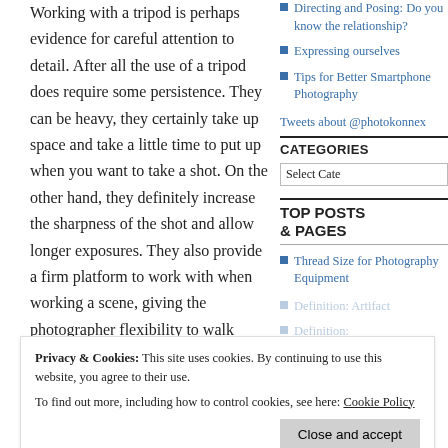Working with a tripod is perhaps evidence for careful attention to detail. After all the use of a tripod does require some persistence. They can be heavy, they certainly take up space and take a little time to put up when you want to take a shot. On the other hand, they definitely increase the sharpness of the shot and allow longer exposures. They also provide a firm platform to work with when working a scene, giving the photographer flexibility to walk around. They also provide a vantage point for the camera during the shot to deal with multiple with multiple camera in difficult situations.
Directing and Posing: Do you know the relationship?
Expressing ourselves
Tips for Better Smartphone Photography
Tweets about @photokonnex
CATEGORIES
Select Category
TOP POSTS & PAGES
Thread Size for Photography Equipment
Definition: Artifact
Definition:
Using different versions of tripods
Privacy & Cookies: This site uses cookies. By continuing to use this website, you agree to their use.
To find out more, including how to control cookies, see here: Cookie Policy